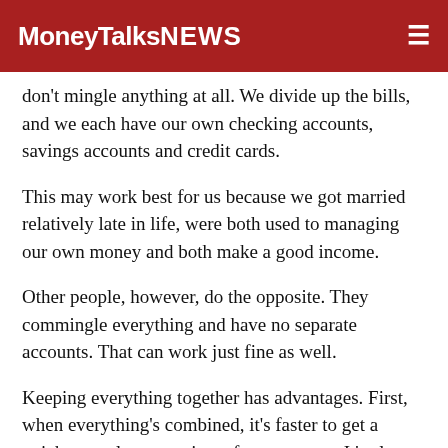MoneyTalksNews
don't mingle anything at all. We divide up the bills, and we each have our own checking accounts, savings accounts and credit cards.
This may work best for us because we got married relatively late in life, were both used to managing our own money and both make a good income.
Other people, however, do the opposite. They commingle everything and have no separate accounts. That can work just fine as well.
Keeping everything together has advantages. First, when everything's combined, it's faster to get a quick, complete overview of your money. It's also harder to